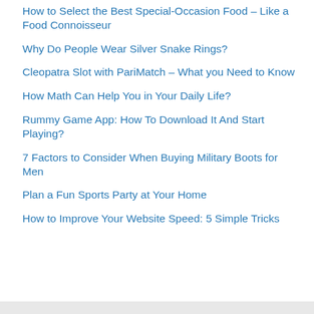How to Select the Best Special-Occasion Food – Like a Food Connoisseur
Why Do People Wear Silver Snake Rings?
Cleopatra Slot with PariMatch – What you Need to Know
How Math Can Help You in Your Daily Life?
Rummy Game App: How To Download It And Start Playing?
7 Factors to Consider When Buying Military Boots for Men
Plan a Fun Sports Party at Your Home
How to Improve Your Website Speed: 5 Simple Tricks